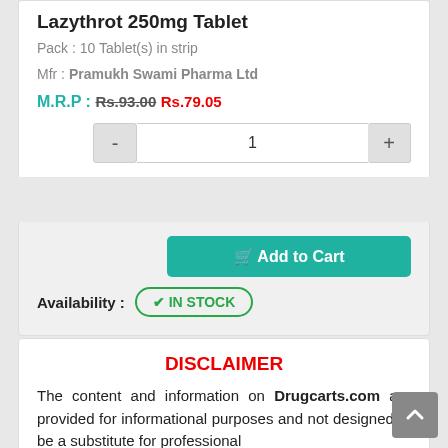Lazythrot 250mg Tablet
Pack : 10 Tablet(s) in strip
Mfr : Pramukh Swami Pharma Ltd
M.R.P : Rs.93.00 Rs.79.05
Add to Cart
Availability : IN STOCK
DISCLAIMER
The content and information on Drugcarts.com are provided for informational purposes and not designed to be a substitute for professional